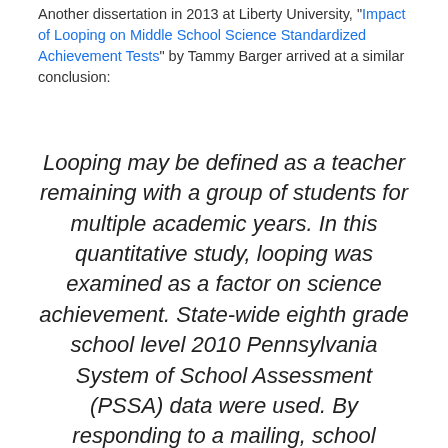Another dissertation in 2013 at Liberty University, "Impact of Looping on Middle School Science Standardized Achievement Tests" by Tammy Barger arrived at a similar conclusion:
Looping may be defined as a teacher remaining with a group of students for multiple academic years. In this quantitative study, looping was examined as a factor on science achievement. State-wide eighth grade school level 2010 Pennsylvania System of School Assessment (PSSA) data were used. By responding to a mailing, school administrators indicated if 2010